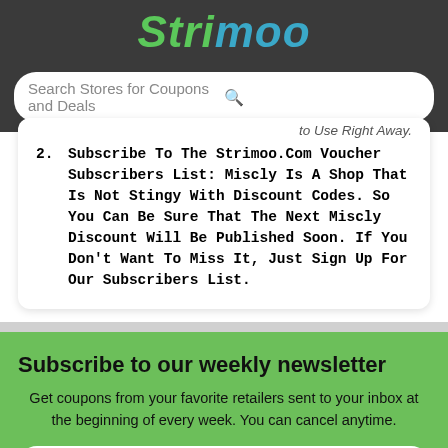Strimoo
Search Stores for Coupons and Deals
Subscribe To The Strimoo.Com Voucher Subscribers List: Miscly Is A Shop That Is Not Stingy With Discount Codes. So You Can Be Sure That The Next Miscly Discount Will Be Published Soon. If You Don't Want To Miss It, Just Sign Up For Our Subscribers List.
Subscribe to our weekly newsletter
Get coupons from your favorite retailers sent to your inbox at the beginning of every week. You can cancel anytime.
Your email address Subscribe